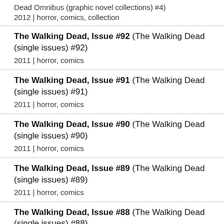Dead Omnibus (graphic novel collections) #4)
2012 | horror, comics, collection
The Walking Dead, Issue #92 (The Walking Dead (single issues) #92)
2011 | horror, comics
The Walking Dead, Issue #91 (The Walking Dead (single issues) #91)
2011 | horror, comics
The Walking Dead, Issue #90 (The Walking Dead (single issues) #90)
2011 | horror, comics
The Walking Dead, Issue #89 (The Walking Dead (single issues) #89)
2011 | horror, comics
The Walking Dead, Issue #88 (The Walking Dead (single issues) #88)